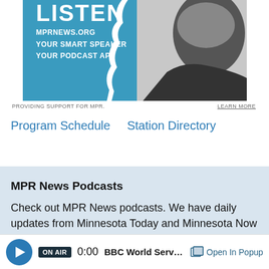[Figure (photo): MPR News advertisement banner showing a person on a teal/blue background with text: LISTEN, MPRNEWS.ORG, YOUR SMART SPEAKER, YOUR PODCAST APP]
PROVIDING SUPPORT FOR MPR.    LEARN MORE
Program Schedule   Station Directory
MPR News Podcasts
Check out MPR News podcasts. We have daily updates from Minnesota Today and Minnesota Now with Cathy Wurzer, in-
ON AIR  0:00  BBC World Service: The Arts I   Open In Popup